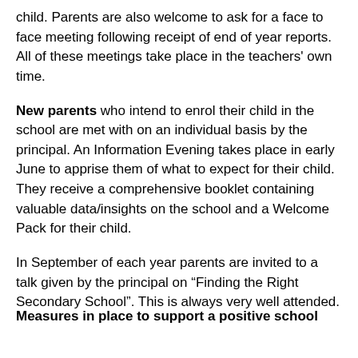child. Parents are also welcome to ask for a face to face meeting following receipt of end of year reports. All of these meetings take place in the teachers' own time.
New parents who intend to enrol their child in the school are met with on an individual basis by the principal. An Information Evening takes place in early June to apprise them of what to expect for their child. They receive a comprehensive booklet containing valuable data/insights on the school and a Welcome Pack for their child.
In September of each year parents are invited to a talk given by the principal on “Finding the Right Secondary School”. This is always very well attended.
Measures in place to support a positive school